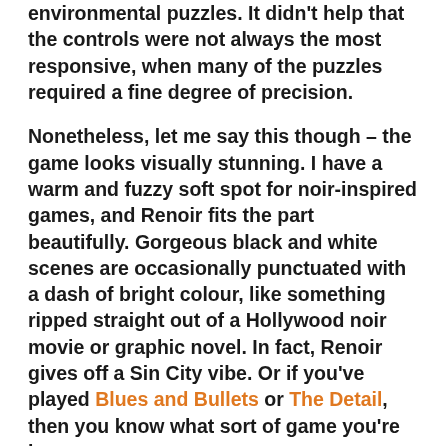environmental puzzles. It didn't help that the controls were not always the most responsive, when many of the puzzles required a fine degree of precision.
Nonetheless, let me say this though – the game looks visually stunning. I have a warm and fuzzy soft spot for noir-inspired games, and Renoir fits the part beautifully. Gorgeous black and white scenes are occasionally punctuated with a dash of bright colour, like something ripped straight out of a Hollywood noir movie or graphic novel. In fact, Renoir gives off a Sin City vibe. Or if you've played Blues and Bullets or The Detail, then you know what sort of game you're in